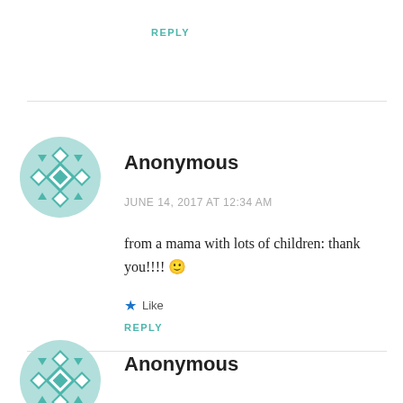REPLY
[Figure (illustration): Teal geometric mandala/quilt pattern avatar icon for Anonymous user, first comment]
Anonymous
JUNE 14, 2017 AT 12:34 AM
from a mama with lots of children: thank you!!!! 🙂
★ Like
REPLY
[Figure (illustration): Teal geometric mandala/quilt pattern avatar icon for Anonymous user, second comment]
Anonymous